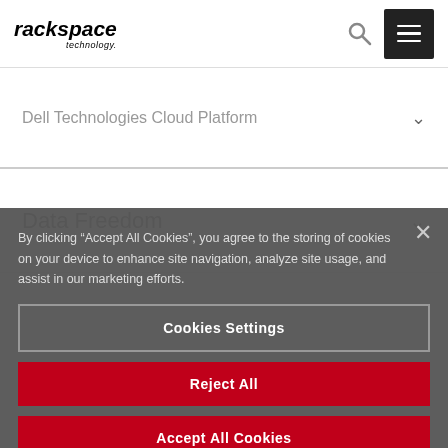[Figure (logo): Rackspace Technology logo in black italic bold text with 'technology.' subtitle]
Dell Technologies Cloud Platform
Data Freedom
By clicking “Accept All Cookies”, you agree to the storing of cookies on your device to enhance site navigation, analyze site usage, and assist in our marketing efforts.
Cookies Settings
Reject All
Accept All Cookies